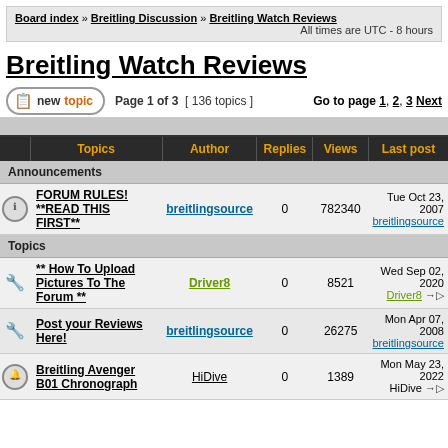Board index » Breitling Discussion » Breitling Watch Reviews — All times are UTC - 8 hours
Breitling Watch Reviews
Page 1 of 3  [ 136 topics ]   Go to page 1, 2, 3  Next
| Topics | Author | Replies | Views | Last post |
| --- | --- | --- | --- | --- |
| Announcements |  |  |  |  |
| FORUM RULES! **READ THIS FIRST** | breitlingsource | 0 | 782340 | Tue Oct 23, 2007  breitlingsource |
| Topics |  |  |  |  |
| ** How To Upload Pictures To The Forum ** | Driver8 | 0 | 8521 | Wed Sep 02, 2020  Driver8 |
| Post your Reviews Here! | breitlingsource | 0 | 26275 | Mon Apr 07, 2008  breitlingsource |
| Breitling Avenger B01 Chronograph | HiDive | 0 | 1389 | Mon May 23, 2022  HiDive |